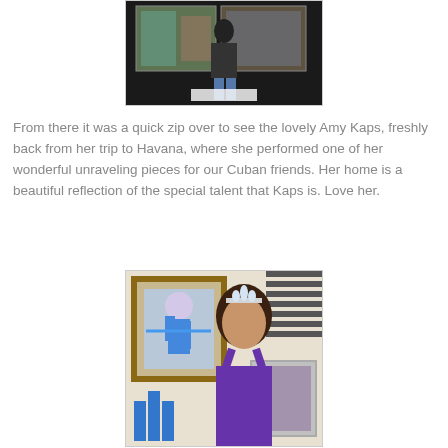[Figure (photo): Person standing in front of artwork/paintings on a dark wall]
From there it was a quick zip over to see the lovely Amy Kaps, freshly back from her trip to Havana, where she performed one of her wonderful unraveling pieces for our Cuban friends. Her home is a beautiful reflection of the special talent that Kaps is. Love her.
[Figure (photo): Woman wearing a tiara and purple dress/sash, standing in front of artwork including a framed piece showing a figure wrapped in blue tape, with blue sculptural elements in the foreground]